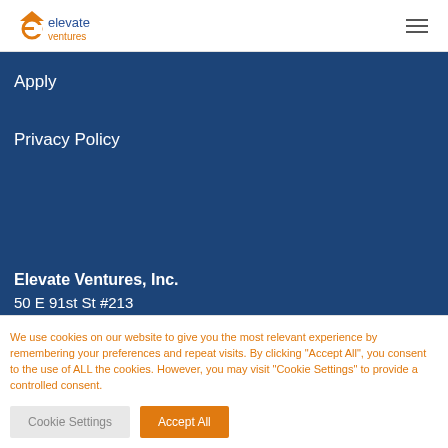[Figure (logo): Elevate Ventures logo — stylized 'e' with hat accent in orange and blue, with 'elevate ventures' text]
Apply
Privacy Policy
Elevate Ventures, Inc.
50 E 91st St #213
We use cookies on our website to give you the most relevant experience by remembering your preferences and repeat visits. By clicking "Accept All", you consent to the use of ALL the cookies. However, you may visit "Cookie Settings" to provide a controlled consent.
Cookie Settings
Accept All